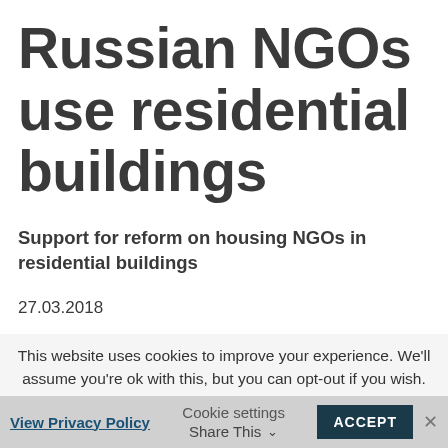Russian NGOs use residential buildings
Support for reform on housing NGOs in residential buildings
27.03.2018
This website uses cookies to improve your experience. We'll assume you're ok with this, but you can opt-out if you wish.
View Privacy Policy   Cookie settings   Share This   ACCEPT